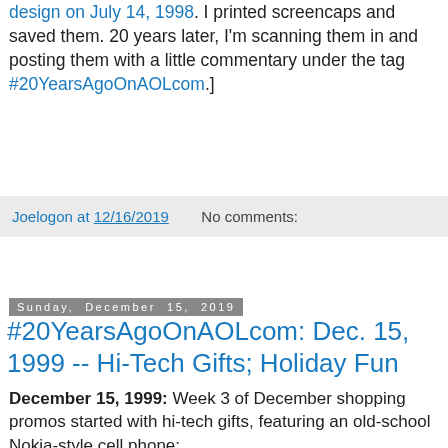design on July 14, 1998. I printed screencaps and saved them. 20 years later, I'm scanning them in and posting them with a little commentary under the tag #20YearsAgoOnAOLcom.]
Joelogon at 12/16/2019    No comments:
Sunday, December 15, 2019
#20YearsAgoOnAOLcom: Dec. 15, 1999 -- Hi-Tech Gifts; Holiday Fun
December 15, 1999: Week 3 of December shopping promos started with hi-tech gifts, featuring an old-school Nokia-style cell phone:
[Figure (screenshot): Screenshot of AOL.com website from December 15, 1999, showing the AOL.COM homepage with navigation links, Daily Essentials section, a Nokia-style cell phone image, Music section, and various other AOL services.]